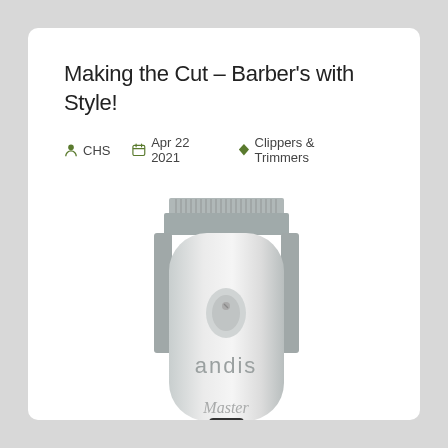Making the Cut – Barber's with Style!
CHS  Apr 22 2021  Clippers & Trimmers
[Figure (photo): Andis Master hair clipper, silver/chrome finish, shown from the front with blade teeth at top, the brand name 'andis' and 'Master' script visible on the body.]